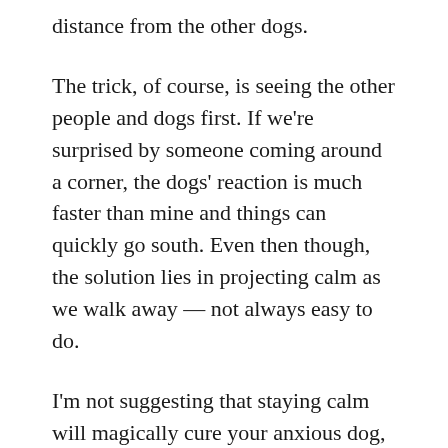distance from the other dogs.
The trick, of course, is seeing the other people and dogs first. If we're surprised by someone coming around a corner, the dogs' reaction is much faster than mine and things can quickly go south. Even then though, the solution lies in projecting calm as we walk away — not always easy to do.
I'm not suggesting that staying calm will magically cure your anxious dog, but it's a nice trick to have up your sleeve. Deepening our ability to stay calm in unpredictable circumstances is beneficial to us as well as to our dogs! The best part is that the synchronization thing is circular. Your dog